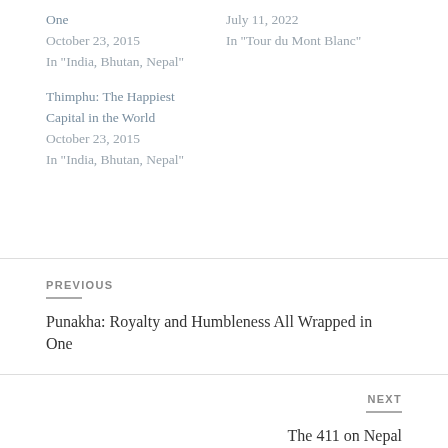One
October 23, 2015
In "India, Bhutan, Nepal"
July 11, 2022
In "Tour du Mont Blanc"
Thimphu: The Happiest Capital in the World
October 23, 2015
In "India, Bhutan, Nepal"
PREVIOUS
Punakha: Royalty and Humbleness All Wrapped in One
NEXT
The 411 on Nepal